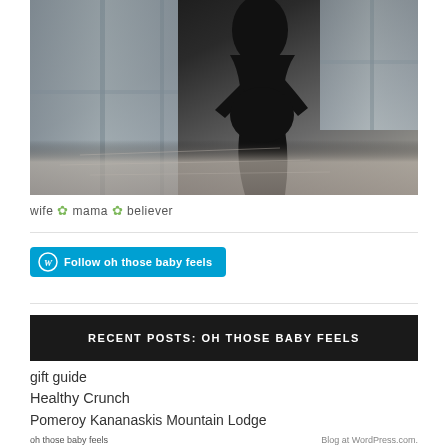[Figure (photo): Silhouetted pregnant woman sitting on a bed near a window, backlit with natural light. Dark figure against bright window light with grey bedding visible.]
wife 🌿 mama 🌿 believer
Follow oh those baby feels
RECENT POSTS: OH THOSE BABY FEELS
gift guide
Healthy Crunch
Pomeroy Kananaskis Mountain Lodge
oh those baby feels   Blog at WordPress.com.